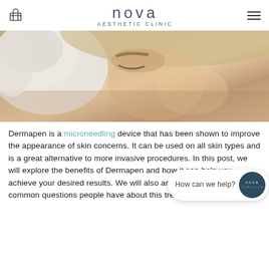Nova Aesthetic Clinic
[Figure (photo): Close-up of a woman's face receiving a skin treatment, with a white cloth or gauze near her forehead; eyes closed, smiling slightly.]
Dermapen is a microneedling device that has been shown to improve the appearance of skin concerns. It can be used on all skin types and is a great alternative to more invasive procedures. In this post, we will explore the benefits of Dermapen and how it can help you achieve your desired res[ults. We will also answer some of the most common questions people have about this treatment. So,